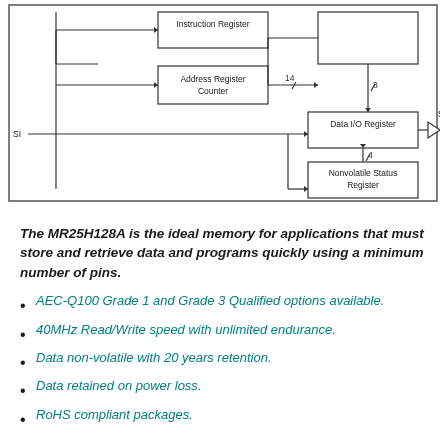[Figure (schematic): Block diagram showing Instruction Register, Address Register Counter with 14-bit bus, Data I/O Register with 8-bit and 4-bit connections, Nonvolatile Status Register, SI input, SD output with buffer/triangle symbol.]
The MR25H128A is the ideal memory for applications that must store and retrieve data and programs quickly using a minimum number of pins.
AEC-Q100 Grade 1 and Grade 3 Qualified options available.
40MHz Read/Write speed with unlimited endurance.
Data non-volatile with 20 years retention.
Data retained on power loss.
RoHS compliant packages.